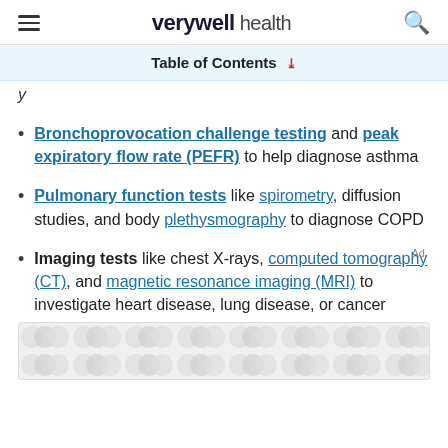verywell health
Table of Contents
y
Bronchoprovocation challenge testing and peak expiratory flow rate (PEFR) to help diagnose asthma
Pulmonary function tests like spirometry, diffusion studies, and body plethysmography to diagnose COPD
Imaging tests like chest X-rays, computed tomography (CT), and magnetic resonance imaging (MRI) to investigate heart disease, lung disease, or cancer